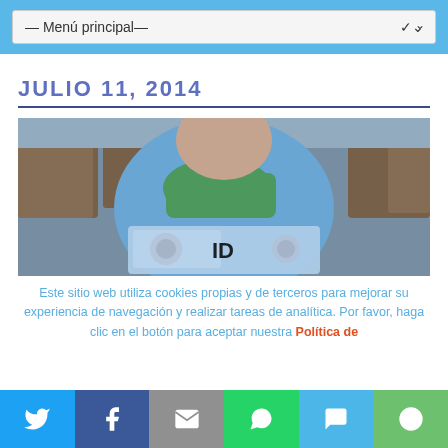— Menú principal–
JULIO 11, 2014
[Figure (photo): Person wearing a light blue t-shirt with a green graphic, holding a sign that reads 'ID', seated in an auditorium with brown chairs visible in the background.]
Este sitio web utiliza cookies propias y de terceros para mejorar su experiencia de navegación y realizar tareas de analítica. Por favor, haga clic en el botón para aceptar nuestra Política de
Twitter | Facebook | Email | WhatsApp | SMS | More